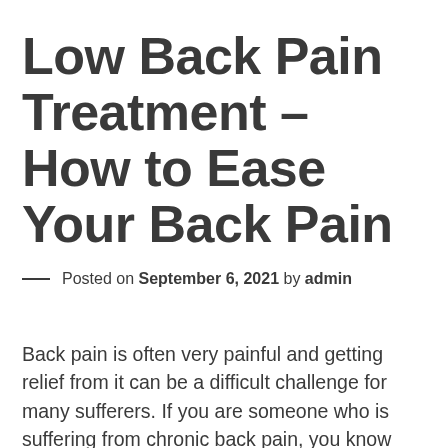Low Back Pain Treatment – How to Ease Your Back Pain
— Posted on September 6, 2021 by admin
Back pain is often very painful and getting relief from it can be a difficult challenge for many sufferers. If you are someone who is suffering from chronic back pain, you know just how much pain it can put you through on a daily basis. It can range